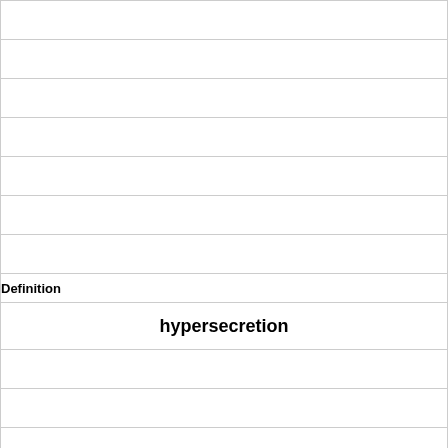|  |
|  |
|  |
|  |
|  |
|  |
|  |
|  |
| Definition |
| hypersecretion |
|  |
|  |
|  |
|  |
|  |
|  |
|  |
|  |
|  |
| Term |
| too little of a substance is being secreted |